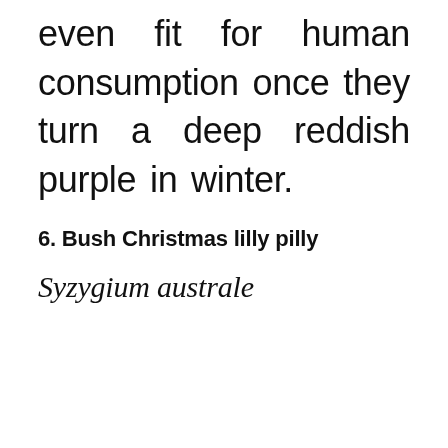even fit for human consumption once they turn a deep reddish purple in winter.
6. Bush Christmas lilly pilly
Syzygium australe